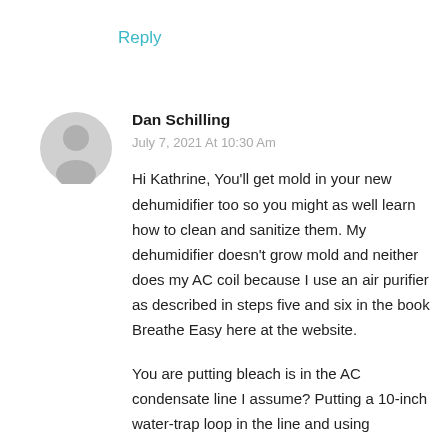Reply
[Figure (illustration): Gray circular avatar icon with silhouette of a person]
Dan Schilling
July 7, 2021 At 10:30 Am
Hi Kathrine, You'll get mold in your new dehumidifier too so you might as well learn how to clean and sanitize them. My dehumidifier doesn't grow mold and neither does my AC coil because I use an air purifier as described in steps five and six in the book Breathe Easy here at the website.
You are putting bleach is in the AC condensate line I assume? Putting a 10-inch water-trap loop in the line and using